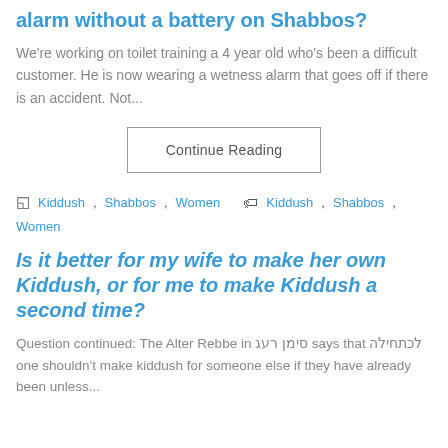alarm without a battery on Shabbos?
We're working on toilet training a 4 year old who's been a difficult customer. He is now wearing a wetness alarm that goes off if there is an accident. Not...
Continue Reading
Kiddush, Shabbos, Women   Kiddush, Shabbos, Women
Is it better for my wife to make her own Kiddush, or for me to make Kiddush a second time?
Question continued: The Alter Rebbe in סימן רעג says that לכתחילה one shouldn't make kiddush for someone else if they have already been unless...